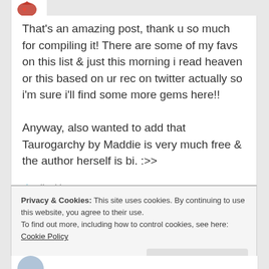[Figure (illustration): Red heart/arrow emoji icon at top of comment card]
That's an amazing post, thank u so much for compiling it! There are some of my favs on this list & just this morning i read heaven or this based on ur rec on twitter actually so i'm sure i'll find some more gems here!! Anyway, also wanted to add that Taurogarchy by Maddie is very much free & the author herself is bi. :>>
★ Liked by 1 person
Privacy & Cookies: This site uses cookies. By continuing to use this website, you agree to their use. To find out more, including how to control cookies, see here: Cookie Policy
Close and accept